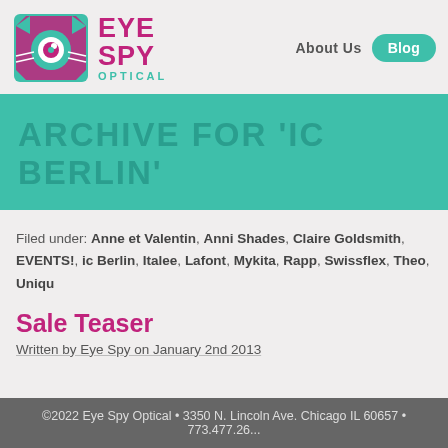[Figure (logo): Eye Spy Optical logo with teal geometric cat/eye icon and purple text reading EYE SPY OPTICAL]
About Us  Blog
ARCHIVE FOR 'IC BERLIN'
Filed under: Anne et Valentin, Anni Shades, Claire Goldsmith, EVENTS!, ic Berlin, Italee, Lafont, Mykita, Rapp, Swissflex, Theo, Uniqu...
Sale Teaser
Written by Eye Spy on January 2nd 2013
©2022 Eye Spy Optical • 3350 N. Lincoln Ave. Chicago IL 60657 • 773.477.26...